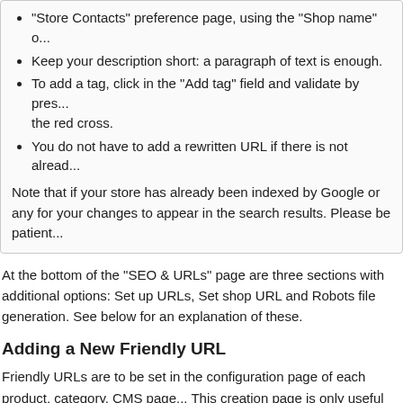"Store Contacts" preference page, using the "Shop name" o...
Keep your description short: a paragraph of text is enough.
To add a tag, click in the "Add tag" field and validate by pres... the red cross.
You do not have to add a rewritten URL if there is not alread...
Note that if your store has already been indexed by Google or any for your changes to appear in the search results. Please be patient...
At the bottom of the "SEO & URLs" page are three sections with additional options: Set up URLs, Set shop URL and Robots file generation. See below for an explanation of these.
Adding a New Friendly URL
Friendly URLs are to be set in the configuration page of each product, category, CMS page... This creation page is only useful for some automatic pages, and most of the time you won't have to worry about these.
Tip
Make sure to fill the fields for all the available languages on